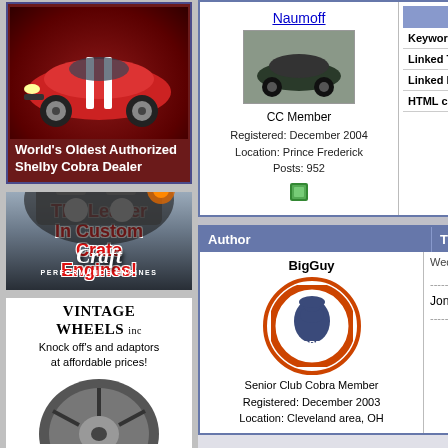[Figure (illustration): Ad for World's Oldest Authorized Shelby Cobra Dealer, showing red Shelby Cobra car on dark red background]
World's Oldest Authorized Shelby Cobra Dealer
[Figure (illustration): Craft Performance Engines ad - The Leader In Custom Crate Engines!]
[Figure (illustration): Vintage Wheels Inc ad - Knock off's and adaptors at affordable prices!]
Naumoff
[Figure (photo): Photo of dark colored Shelby Cobra car on track]
CC Member
Registered: December 2004
Location: Prince Frederick
Posts: 952
Keywords: Y
Linked Thu
Linked Imag
HTML code:
| Author | Thread |
| --- | --- |
| BigGuy | Wed Se... |
BigGuy
Senior Club Cobra Member
Registered: December 2003
Location: Cleveland area, OH
--------
Jon
--------